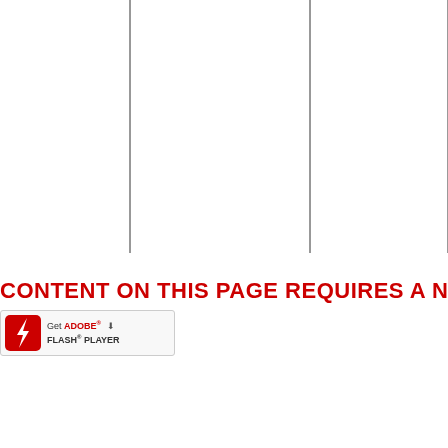[Figure (other): Three vertical dark lines evenly spaced across the upper portion of the page, appearing as part of a Flash-based chart or diagram placeholder]
CONTENT ON THIS PAGE REQUIRES A NEW
[Figure (other): Get ADOBE FLASH PLAYER badge with red Flash logo icon and download arrow]